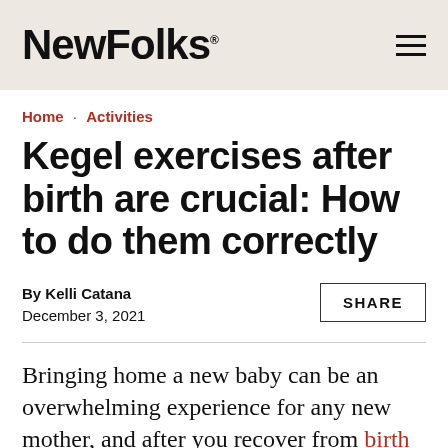NewFolks.
Home · Activities
Kegel exercises after birth are crucial: How to do them correctly
By Kelli Catana
December 3, 2021
SHARE
Bringing home a new baby can be an overwhelming experience for any new mother, and after you recover from birth…